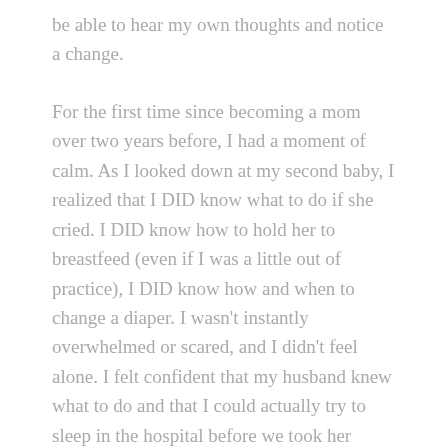be able to hear my own thoughts and notice a change.
For the first time since becoming a mom over two years before, I had a moment of calm. As I looked down at my second baby, I realized that I DID know what to do if she cried. I DID know how to hold her to breastfeed (even if I was a little out of practice), I DID know how and when to change a diaper. I wasn't instantly overwhelmed or scared, and I didn't feel alone. I felt confident that my husband knew what to do and that I could actually try to sleep in the hospital before we took her home. Then, I chose to hold my new baby not because I was afraid to put her down but because I wanted to look at her tiny, perfect face and take in everything about it. I was able to focus on tiny details like her eyelashes, soft cheeks, and tiny fingers instead of feeling overwhelmed by the hugeness of the situation and the responsibility of caring for a new life. I didn't wake up in a panic when she would